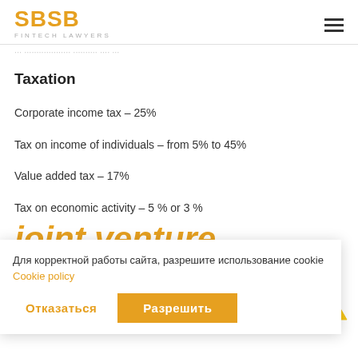SBSB FINTECH LAWYERS
Taxation
Corporate income tax – 25%
Tax on income of individuals – from 5% to 45%
Value added tax – 17%
Tax on economic activity – 5 % or 3 %
Joint venture
…ablished by a stor. In some to some s, such as tion and construction, the joint
Для корректной работы сайта, разрешите использование cookie Cookie policy
Отказаться   Разрешить